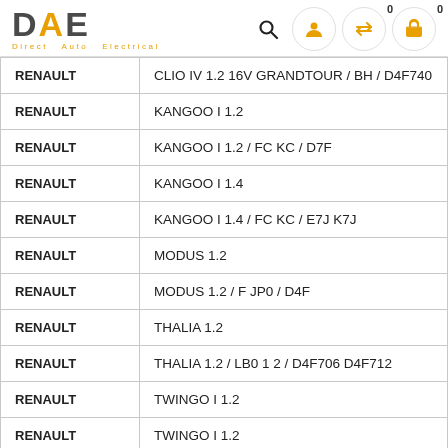DAE Direct Auto Electrical
| Make | Model |
| --- | --- |
| RENAULT | CLIO IV 1.2 16V GRANDTOUR / BH / D4F740 |
| RENAULT | KANGOO I 1.2 |
| RENAULT | KANGOO I 1.2 / FC KC / D7F |
| RENAULT | KANGOO I 1.4 |
| RENAULT | KANGOO I 1.4 / FC KC / E7J K7J |
| RENAULT | MODUS 1.2 |
| RENAULT | MODUS 1.2 / F JP0 / D4F |
| RENAULT | THALIA 1.2 |
| RENAULT | THALIA 1.2 / LB0 1 2 / D4F706 D4F712 |
| RENAULT | TWINGO I 1.2 |
| RENAULT | TWINGO I 1.2 |